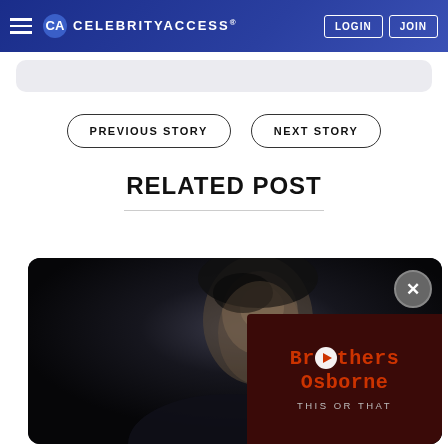CELEBRITYACCESS® LOGIN JOIN
PREVIOUS STORY
NEXT STORY
RELATED POST
[Figure (photo): Dark photograph of a man with Brothers Osborne 'This Or That' video overlay in lower right corner with a play button]